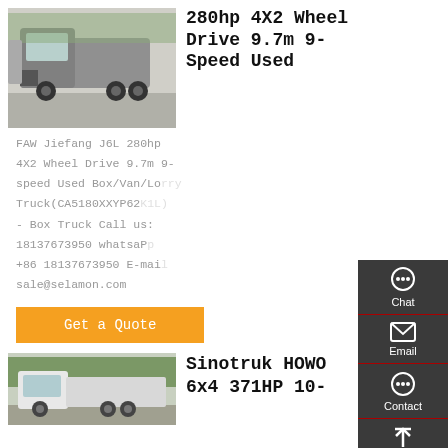[Figure (photo): Photo of a FAW Jiefang J6L truck, gray cab, outdoors in a parking/yard area]
280hp 4X2 Wheel Drive 9.7m 9-Speed Used
FAW Jiefang J6L 280hp 4X2 Wheel Drive 9.7m 9-speed Used Box/Van/Lorry Truck(CA5180XXYP62K1L) - Box Truck Call us: 18137673950 whatsapp +86 18137673950 E-mail sale@selamon.com
Get a Quote
[Figure (photo): Photo of a Sinotruk HOWO truck, white cab, outdoors with trees in background]
Sinotruk HOWO 6x4 371HP 10-